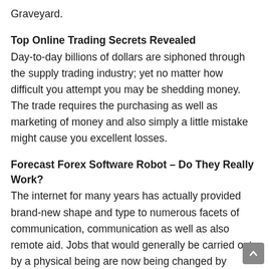Graveyard.
Top Online Trading Secrets Revealed
Day-to-day billions of dollars are siphoned through the supply trading industry; yet no matter how difficult you attempt you may be shedding money. The trade requires the purchasing as well as marketing of money and also simply a little mistake might cause you excellent losses.
Forecast Forex Software Robot – Do They Really Work?
The internet for many years has actually provided brand-new shape and type to numerous facets of communication, communication as well as also remote aid. Jobs that would generally be carried out by a physical being are now being changed by software program systems. Learn just how to make money from projection Forex software robotic expo